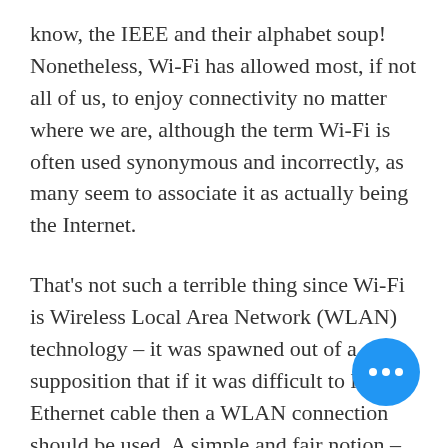know, the IEEE and their alphabet soup! Nonetheless, Wi-Fi has allowed most, if not all of us, to enjoy connectivity no matter where we are, although the term Wi-Fi is often used synonymous and incorrectly, as many seem to associate it as actually being the Internet.
That's not such a terrible thing since Wi-Fi is Wireless Local Area Network (WLAN) technology – it was spawned out of a supposition that if it was difficult to lay Ethernet cable then a WLAN connection should be used. A simple and fair notion – use wireless technology to essentially bridge gap with your Local Area Network (LANs), Metropolitan Area Network